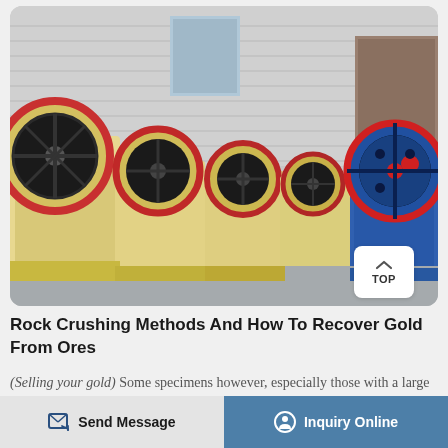[Figure (photo): Industrial factory floor showing a row of large jaw crusher machines in cream/yellow color with red flywheel rings, and one blue crusher machine on the right, lined up in a large warehouse with corrugated metal walls and concrete floor.]
Rock Crushing Methods And How To Recover Gold From Ores
(Selling your gold) Some specimens however, especially those with a large amount of rock and
Send Message
Inquiry Online